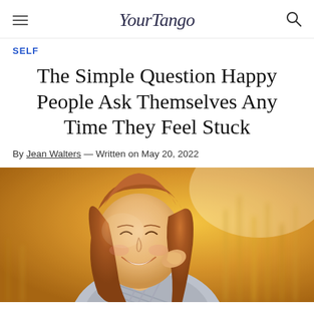YourTango
SELF
The Simple Question Happy People Ask Themselves Any Time They Feel Stuck
By Jean Walters — Written on May 20, 2022
[Figure (photo): A smiling young woman with long reddish-brown hair, lying in a golden field, looking up and smiling brightly. Warm sunlit background with blurred wheat/grass stalks.]